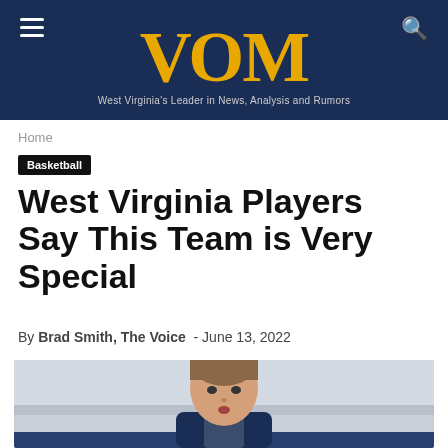VOM – West Virginia's Leader in News, Analysis and Rumors
Home
Basketball
West Virginia Players Say This Team is Very Special
By Brad Smith, The Voice  -  June 13, 2022
[Figure (photo): Basketball player in navy blue uniform, close-up portrait in gym setting]